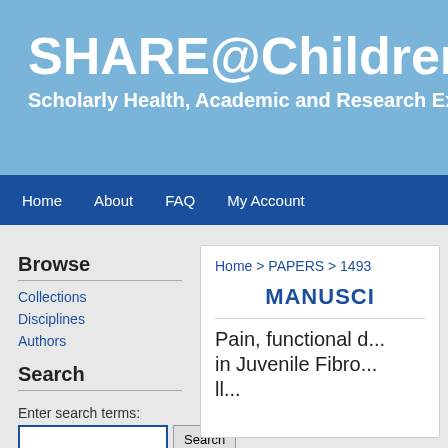SHARE@Children's — Scholarly Health, Academic and Research Exch...
Home   About   FAQ   My Account
Browse
Collections
Disciplines
Authors
Search
Enter search terms:
in this series
Advanced Search
Home > PAPERS > 1493
MANUSC...
Pain, functional d... in Juvenile Fibro... ll...